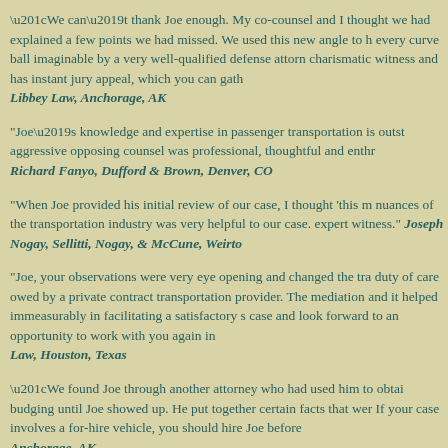“We can’t thank Joe enough. My co-counsel and I thought we had explained a few points we had missed. We used this new angle to h every curve ball imaginable by a very well-qualified defense attorn charismatic witness and has instant jury appeal, which you can gath Libbey Law, Anchorage, AK
"Joe’s knowledge and expertise in passenger transportation is outst aggressive opposing counsel was professional, thoughtful and enthr Richard Fanyo, Dufford & Brown, Denver, CO
"When Joe provided his initial review of our case, I thought 'this m nuances of the transportation industry was very helpful to our case. expert witness." Joseph Nogay, Sellitti, Nogay, & McCune, Weirto
"Joe, your observations were very eye opening and changed the tra duty of care owed by a private contract transportation provider. The mediation and it helped immeasurably in facilitating a satisfactory s case and look forward to an opportunity to work with you again in Law, Houston, Texas
“We found Joe through another attorney who had used him to obtai budging until Joe showed up. He put together certain facts that wer If your case involves a for-hire vehicle, you should hire Joe before Anchorage, AK
“Joe’s credentials in the non-emergency transport industry span